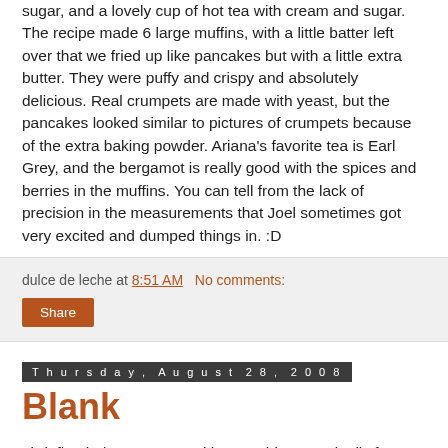sugar, and a lovely cup of hot tea with cream and sugar. The recipe made 6 large muffins, with a little batter left over that we fried up like pancakes but with a little extra butter. They were puffy and crispy and absolutely delicious. Real crumpets are made with yeast, but the pancakes looked similar to pictures of crumpets because of the extra baking powder. Ariana's favorite tea is Earl Grey, and the bergamot is really good with the spices and berries in the muffins. You can tell from the lack of precision in the measurements that Joel sometimes got very excited and dumped things in. :D
dulce de leche at 8:51 AM   No comments:
Share
Thursday, August 28, 2008
Blank
I briefly tried to come up with something marginally funny or thought-provoking, or a cute story about the kids, or, or, something. Nope. I'm totally blank. Nothin' in my